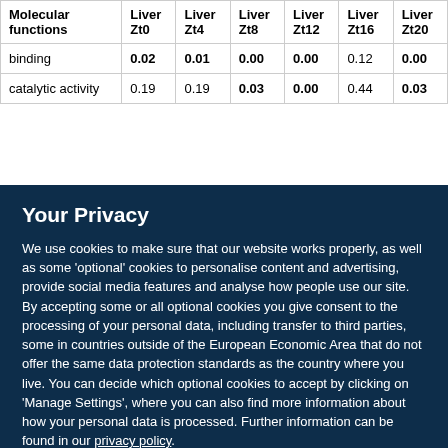| Molecular functions | Liver Zt0 | Liver Zt4 | Liver Zt8 | Liver Zt12 | Liver Zt16 | Liver Zt20 |
| --- | --- | --- | --- | --- | --- | --- |
| binding | 0.02 | 0.01 | 0.00 | 0.00 | 0.12 | 0.00 |
| catalytic activity | 0.19 | 0.19 | 0.03 | 0.00 | 0.44 | 0.03 |
Your Privacy
We use cookies to make sure that our website works properly, as well as some 'optional' cookies to personalise content and advertising, provide social media features and analyse how people use our site. By accepting some or all optional cookies you give consent to the processing of your personal data, including transfer to third parties, some in countries outside of the European Economic Area that do not offer the same data protection standards as the country where you live. You can decide which optional cookies to accept by clicking on 'Manage Settings', where you can also find more information about how your personal data is processed. Further information can be found in our privacy policy.
Accept all cookies
Manage preferences